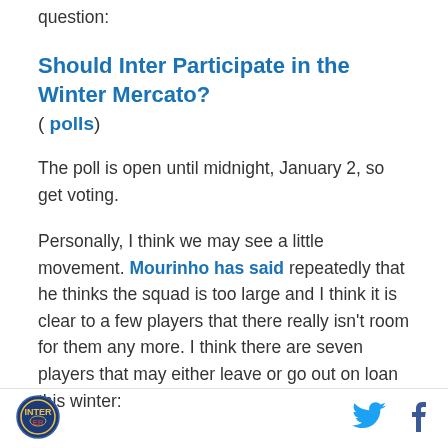First, I thought we would tackle where mercato question:
Should Inter Participate in the Winter Mercato?
( polls)
The poll is open until midnight, January 2, so get voting.
Personally, I think we may see a little movement. Mourinho has said repeatedly that he thinks the squad is too large and I think it is clear to a few players that there really isn't room for them any more. I think there are seven players that may either leave or go out on loan this winter:
[Figure (logo): Circular sports team logo with blue border and red/gold emblem]
[Figure (other): Twitter bird icon in blue]
[Figure (other): Facebook f icon in dark blue/navy]